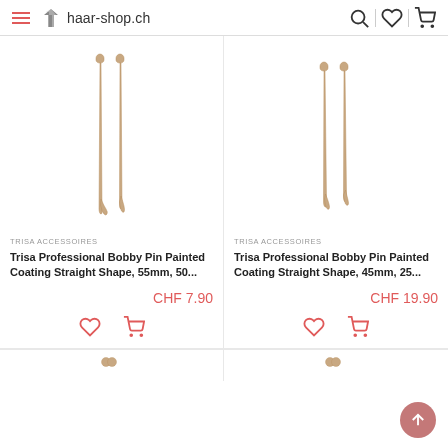haar-shop.ch
[Figure (photo): Two golden-tone straight bobby pins (55mm), upright against white background]
TRISA ACCESSOIRES
Trisa Professional Bobby Pin Painted Coating Straight Shape, 55mm, 50...
CHF 7.90
[Figure (photo): Two golden-tone straight bobby pins (45mm), upright against white background]
TRISA ACCESSOIRES
Trisa Professional Bobby Pin Painted Coating Straight Shape, 45mm, 25...
CHF 19.90